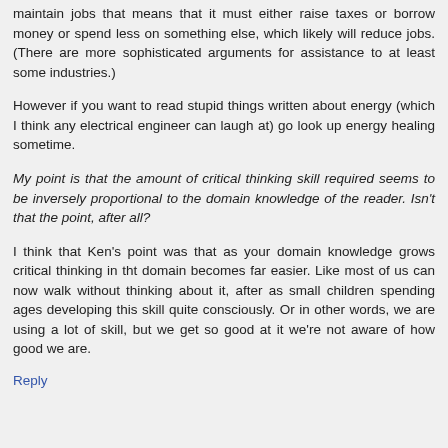maintain jobs that means that it must either raise taxes or borrow money or spend less on something else, which likely will reduce jobs. (There are more sophisticated arguments for assistance to at least some industries.)
However if you want to read stupid things written about energy (which I think any electrical engineer can laugh at) go look up energy healing sometime.
My point is that the amount of critical thinking skill required seems to be inversely proportional to the domain knowledge of the reader. Isn't that the point, after all?
I think that Ken's point was that as your domain knowledge grows critical thinking in tht domain becomes far easier. Like most of us can now walk without thinking about it, after as small children spending ages developing this skill quite consciously. Or in other words, we are using a lot of skill, but we get so good at it we're not aware of how good we are.
Reply